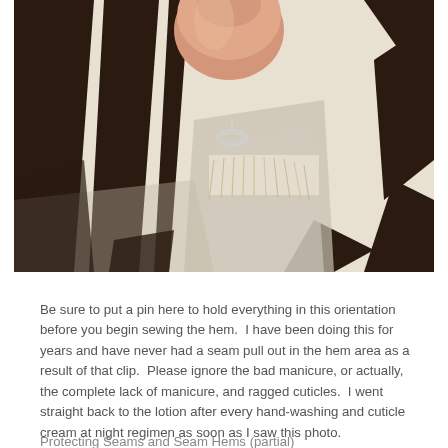[Figure (photo): Close-up photograph of a hand holding zebra-print fabric (black and brown stripes on cream/white background) showing the hem area with fraying threads and what appears to be a safety pin or clip holding the fabric in place.]
Be sure to put a pin here to hold everything in this orientation before you begin sewing the hem.  I have been doing this for years and have never had a seam pull out in the hem area as a result of that clip.  Please ignore the bad manicure, or actually, the complete lack of manicure, and ragged cuticles.  I went straight back to the lotion after every hand-washing and cuticle cream at night regimen as soon as I saw this photo.
Protecting Seams and Seam Hems (partial)